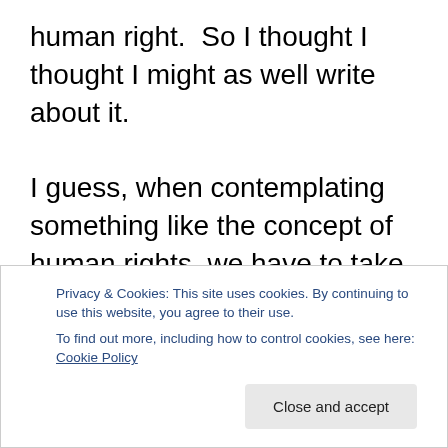human right.  So I thought I thought I might as well write about it.

I guess, when contemplating something like the concept of human rights, we have to take into consideration a number of important factors.  Obviously there will be debates about what does or does not constitute as a basic human right.  There may also be questions about whether basic human rights even exist in the first place.  I cannot claim to have a strong personal opinion on the matter.  I am not somebody who believes in universal absolutes, however I
Privacy & Cookies: This site uses cookies. By continuing to use this website, you agree to their use.
To find out more, including how to control cookies, see here: Cookie Policy
Close and accept